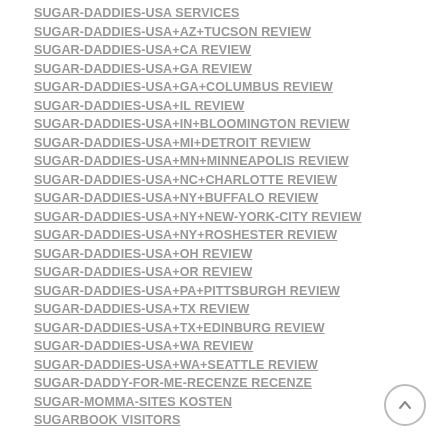SUGAR-DADDIES-USA SERVICES
SUGAR-DADDIES-USA+AZ+TUCSON REVIEW
SUGAR-DADDIES-USA+CA REVIEW
SUGAR-DADDIES-USA+GA REVIEW
SUGAR-DADDIES-USA+GA+COLUMBUS REVIEW
SUGAR-DADDIES-USA+IL REVIEW
SUGAR-DADDIES-USA+IN+BLOOMINGTON REVIEW
SUGAR-DADDIES-USA+MI+DETROIT REVIEW
SUGAR-DADDIES-USA+MN+MINNEAPOLIS REVIEW
SUGAR-DADDIES-USA+NC+CHARLOTTE REVIEW
SUGAR-DADDIES-USA+NY+BUFFALO REVIEW
SUGAR-DADDIES-USA+NY+NEW-YORK-CITY REVIEW
SUGAR-DADDIES-USA+NY+ROSHESTER REVIEW
SUGAR-DADDIES-USA+OH REVIEW
SUGAR-DADDIES-USA+OR REVIEW
SUGAR-DADDIES-USA+PA+PITTSBURGH REVIEW
SUGAR-DADDIES-USA+TX REVIEW
SUGAR-DADDIES-USA+TX+EDINBURG REVIEW
SUGAR-DADDIES-USA+WA REVIEW
SUGAR-DADDIES-USA+WA+SEATTLE REVIEW
SUGAR-DADDY-FOR-ME-RECENZE RECENZE
SUGAR-MOMMA-SITES KOSTEN
SUGARBOOK VISITORS